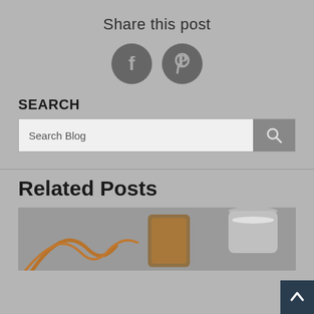Share this post
[Figure (illustration): Two social media icon circles: Facebook (f) and Pinterest (P logo) in dark gray]
SEARCH
[Figure (screenshot): Search bar with placeholder text 'Search Blog' and a search button with magnifying glass icon]
Related Posts
[Figure (photo): Food photo showing caramel sauce drizzled on a dessert, a glass of caramel sauce, and a small metal cup with white sugar/salt, on a gray background]